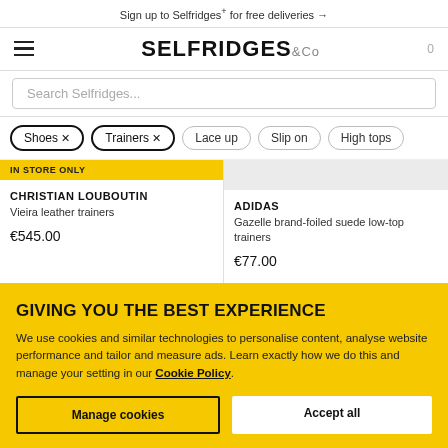Sign up to Selfridges+ for free deliveries →
[Figure (logo): Selfridges & Co logo with hamburger menu and cart count 0]
Search Selfridges...
Shoes ×
Trainers ×
Lace up
Slip on
High tops
IN STORE ONLY
CHRISTIAN LOUBOUTIN
Vieira leather trainers
€545.00
ADIDAS
Gazelle brand-foiled suede low-top trainers
€77.00
GIVING YOU THE BEST EXPERIENCE
We use cookies and similar technologies to personalise content, analyse website performance and tailor and measure ads. Learn exactly how we do this and manage your setting in our Cookie Policy.
Manage cookies
Accept all